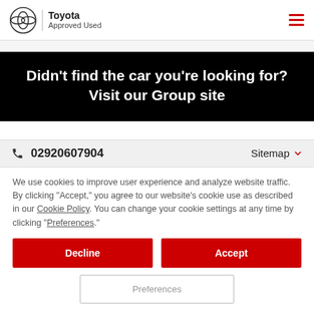Toyota Approved Used
Didn't find the car you're looking for? Visit our Group site
02920607904   Sitemap
We use cookies to improve user experience and analyze website traffic. By clicking "Accept," you agree to our website's cookie use as described in our Cookie Policy. You can change your cookie settings at any time by clicking "Preferences."
Decline
Accept
Preferences